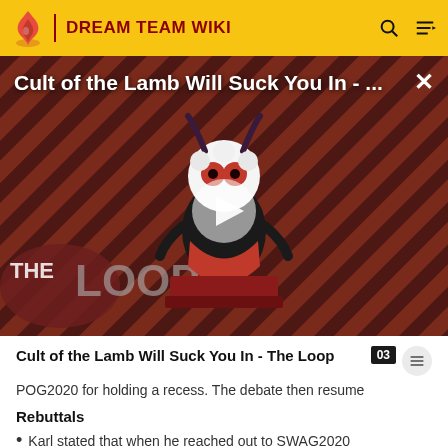DREAM TEAM WIKI
[Figure (screenshot): Video thumbnail for 'Cult of the Lamb Will Suck You In - The Loop' showing an animated lamb character on a striped dark red background with The Loop branding and a play button overlay]
Cult of the Lamb Will Suck You In - The Loop
POG2020 for holding a recess. The debate then resume
Rebuttals
Karl stated that when he reached out to SWAG2020